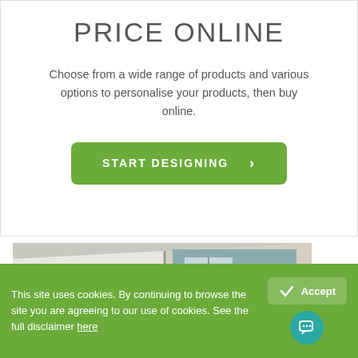PRICE ONLINE
Choose from a wide range of products and various options to personalise your products, then buy online.
[Figure (other): Green button with text START DESIGNING and a right-facing chevron arrow]
[Figure (photo): Open brochure or catalogue showing architectural/window product imagery with green accents, placed on a wooden surface]
This site uses cookies. By continuing to browse the site you are agreeing to our use of cookies. See the full disclaimer here
[Figure (other): Accept button with checkmark and chat bubble icon button on green cookie consent banner]